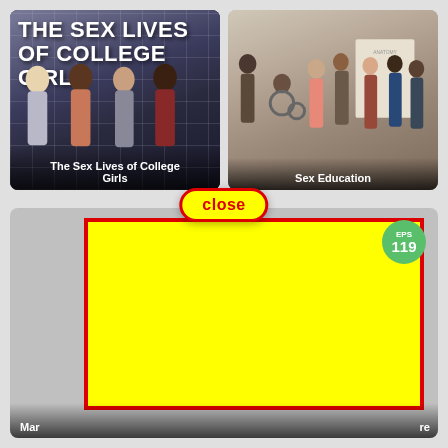[Figure (screenshot): TV show poster for 'The Sex Lives of College Girls' showing four young women against a grid background with bold white title text]
The Sex Lives of College Girls
[Figure (screenshot): TV show poster for 'Sex Education' showing a group of diverse teenagers]
Sex Education
close
[Figure (screenshot): Bottom card showing a TV show with EPS 119 badge, a yellow rectangle with red border overlay, partial title text visible as 'Mar' on left and 're' on right]
EPS 119